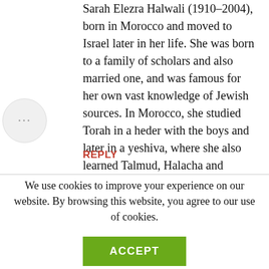Sarah Elezra Halwali (1910–2004), born in Morocco and moved to Israel later in her life. She was born to a family of scholars and also married one, and was famous for her own vast knowledge of Jewish sources. In Morocco, she studied Torah in a heder with the boys and later in a yeshiva, where she also learned Talmud, Halacha and kabbalah from the luminaries of the time.
REPLY
We use cookies to improve your experience on our website. By browsing this website, you agree to our use of cookies.
ACCEPT